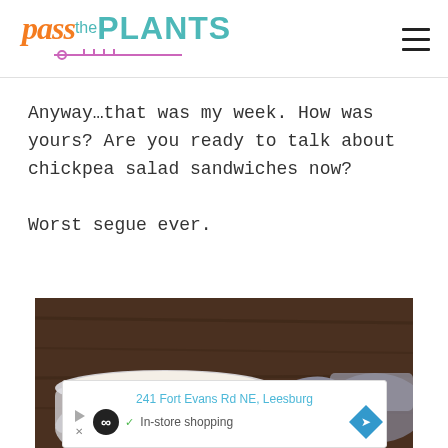pass the PLANTS
Anyway…that was my week. How was yours? Are you ready to talk about chickpea salad sandwiches now?
Worst segue ever.
[Figure (photo): Partial view of what appears to be a bowl or pot of food (chickpea salad) on a dark wooden surface]
[Figure (other): Advertisement overlay showing '241 Fort Evans Rd NE, Leesburg' with navigation icons and 'In-store shopping' text]